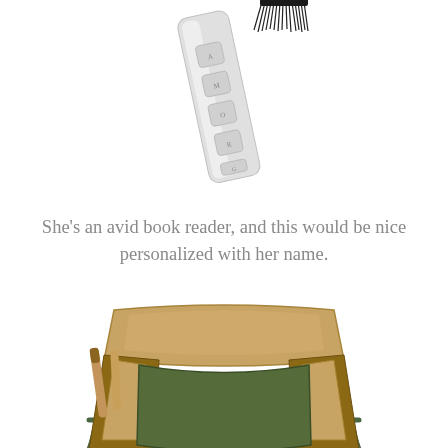[Figure (photo): A silver bookmark with engraved icons/stamps along its length, shown at an angle, with what appears to be a black tassel or fringe visible at the top right.]
She’s an avid book reader, and this would be nice personalized with her name.
[Figure (photo): A garden stool/seat with a tan canvas seat and olive green metal frame, with attached canvas tool pouches around the sides holding wooden-handled gardening tools.]